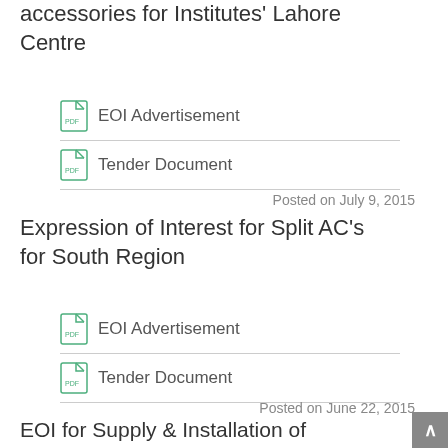accessories for Institutes' Lahore Centre
EOI Advertisement
Tender Document
Posted on July 9, 2015
Expression of Interest for Split AC's for South Region
EOI Advertisement
Tender Document
Posted on June 22, 2015
EOI for Supply & Installation of Prefabricated LGS Steel Framing System (Portacabin) for Islamabad Campus